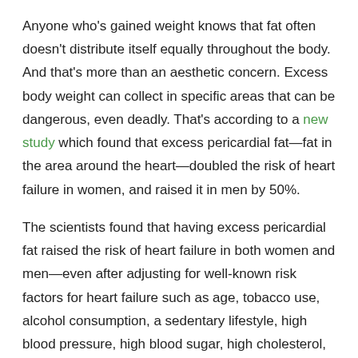Anyone who's gained weight knows that fat often doesn't distribute itself equally throughout the body. And that's more than an aesthetic concern. Excess body weight can collect in specific areas that can be dangerous, even deadly. That's according to a new study which found that excess pericardial fat—fat in the area around the heart—doubled the risk of heart failure in women, and raised it in men by 50%.
The scientists found that having excess pericardial fat raised the risk of heart failure in both women and men—even after adjusting for well-known risk factors for heart failure such as age, tobacco use, alcohol consumption, a sedentary lifestyle, high blood pressure, high blood sugar, high cholesterol, and previous heart attacks.
RELATED: 5 Signs You Have Dementia and Aren't Aging "Normally"